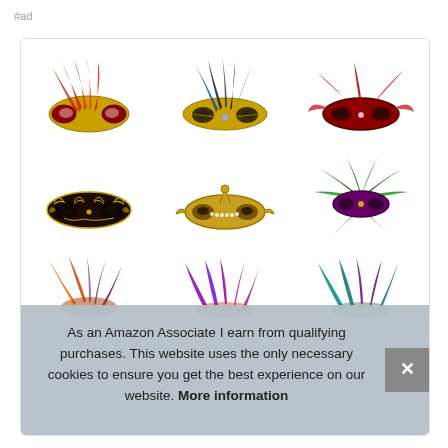#ad
[Figure (illustration): 3x3 grid of colorful carnival/masquerade masks on white background. Row 1: red feather mask (gold), blue/yellow feather mask, dark red dramatic mask. Row 2: dark ornate gold filigree mask, gold decorative mask, green/purple feather star mask. Row 3: orange/purple feather arrangement, purple/red feather arrangement, teal/purple feather arrangement (partially visible).]
As an Amazon Associate I earn from qualifying purchases. This website uses the only necessary cookies to ensure you get the best experience on our website. More information